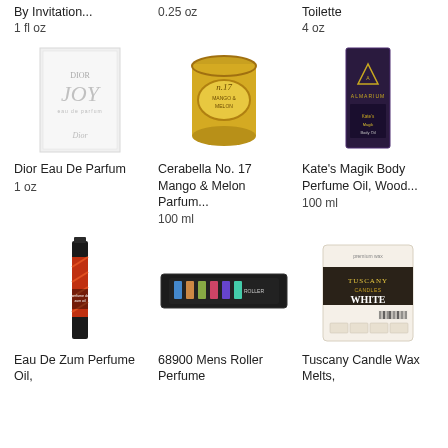By Invitation...
1 fl oz
0.25 oz
Toilette
4 oz
[Figure (photo): Dior JOY Eau de Parfum box, white/silver packaging]
Dior Eau De Parfum
1 oz
[Figure (photo): Cerabella No. 17 Mango & Melon Parfum candle in gold glass jar]
Cerabella No. 17 Mango & Melon Parfum...
100 ml
[Figure (photo): Kate's Magik Body Perfume Oil, Wood... dark purple box]
Kate's Magik Body Perfume Oil, Wood...
100 ml
[Figure (photo): Eau De Zum Perfume Oil slim bottle with red and orange label]
Eau De Zum Perfume Oil,
[Figure (photo): 68900 Mens Roller Perfume dark rectangular box]
68900 Mens Roller Perfume
[Figure (photo): Tuscany Candle Wax Melts White Woods in plastic clamshell packaging]
Tuscany Candle Wax Melts,